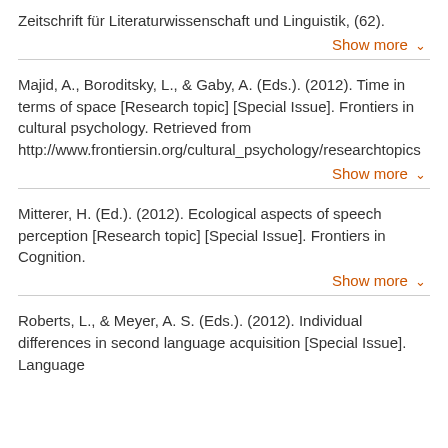Zeitschrift für Literaturwissenschaft und Linguistik, (62).
Show more
Majid, A., Boroditsky, L., & Gaby, A. (Eds.). (2012). Time in terms of space [Research topic] [Special Issue]. Frontiers in cultural psychology. Retrieved from http://www.frontiersin.org/cultural_psychology/researchtopics
Show more
Mitterer, H. (Ed.). (2012). Ecological aspects of speech perception [Research topic] [Special Issue]. Frontiers in Cognition.
Show more
Roberts, L., & Meyer, A. S. (Eds.). (2012). Individual differences in second language acquisition [Special Issue]. Language